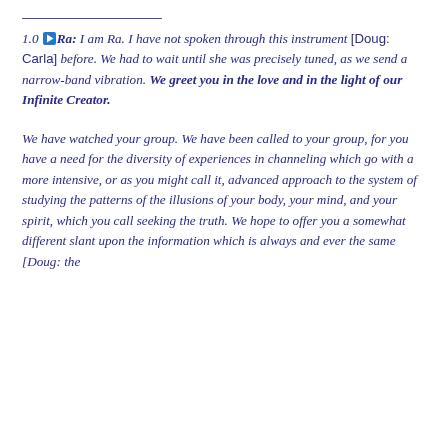1.0▶Ra: I am Ra. I have not spoken through this instrument [Doug: Carla] before. We had to wait until she was precisely tuned, as we send a narrow-band vibration. We greet you in the love and in the light of our Infinite Creator.
We have watched your group. We have been called to your group, for you have a need for the diversity of experiences in channeling which go with a more intensive, or as you might call it, advanced approach to the system of studying the patterns of the illusions of your body, your mind, and your spirit, which you call seeking the truth. We hope to offer you a somewhat different slant upon the information which is always and ever the same [Doug: the Perennial Philosophy].